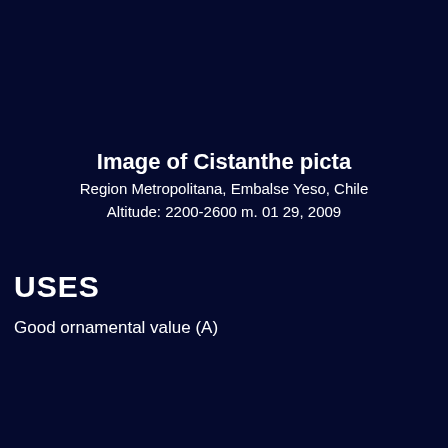Image of Cistanthe picta
Region Metropolitana, Embalse Yeso, Chile
Altitude: 2200-2600 m. 01 29, 2009
USES
Good ornamental value (A)